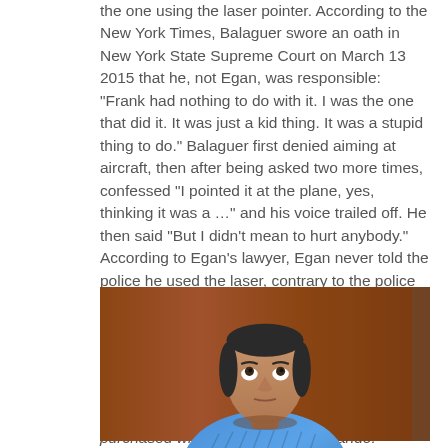the one using the laser pointer. According to the New York Times, Balaguer swore an oath in New York State Supreme Court on March 13 2015 that he, not Egan, was responsible: "Frank had nothing to do with it. I was the one that did it. It was just a kid thing. It was a stupid thing to do." Balaguer first denied aiming at aircraft, then after being asked two more times, confessed "I pointed it at the plane, yes, thinking it was a …" and his voice trailed off. He then said "But I didn't mean to hurt anybody." According to Egan's lawyer, Egan never told the police he used the laser, contrary to the police statement after Egan's arrest. From the New York Times. A related article in the New York Times published March 12 2015 was entitled "Powerful Lasers Easy to Buy, Experts Say." The New York Post called the laser "military-grade" and said it had been purchased while on vacation in Orlando.
[Figure (photo): Photo of a middle-aged man in a blue patterned shirt, looking upward, seated in what appears to be a courtroom or formal setting with a wood-paneled background.]